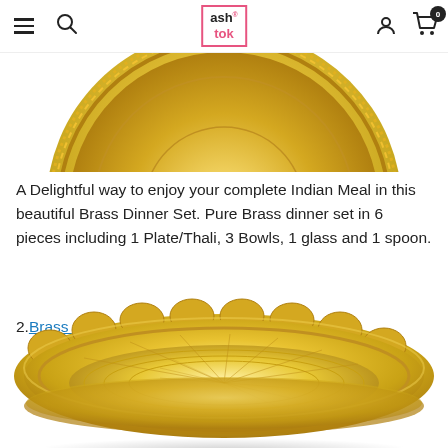ashtok — navigation header with menu, search, logo, user icon, cart (0)
[Figure (photo): Top portion of a golden brass thali/plate with decorative engraved border, partially visible at top of page]
A Delightful way to enjoy your complete Indian Meal in this beautiful Brass Dinner Set. Pure Brass dinner set in 6 pieces including 1 Plate/Thali, 3 Bowls, 1 glass and 1 spoon.
2. Brass Sweet Plate:
[Figure (photo): Brass Sweet Plate — a round golden brass plate with scalloped decorative edges and intricate engraved floral and geometric patterns, photographed from a slight angle]